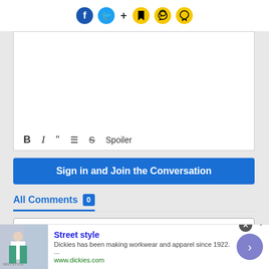[Figure (screenshot): Social media sharing icons: Facebook, Twitter, plus sign, bookmark, bell, and speech bubble icons in a top bar]
[Figure (screenshot): Text editor toolbar with Bold (B), Italic (I), Quote, List, Strikethrough, and Spoiler formatting buttons]
Sign in and Join the Conversation
All Comments 0
Most Respected
There are no comments yet. Why don't you write one?
[Figure (screenshot): Advertisement banner for Dickies Street Style with image, text, and CTA button]
Street style
Dickies has been making workwear and apparel since 1922. ...
www.dickies.com